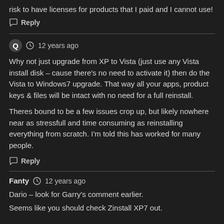risk to have licenses for products that I paid and I cannot use!
Reply
Q  12 years ago
Why not just upgrade from XP to Vista (just use any Vista install disk – cause there's no need to activate it) then do the Vista to Windows7 upgrade. That way all your apps, product keys & files will be intact with no need for a full reinstall.
Theres bound to be a few issues crop up, but likely nowhere near as stressfull and time consuming as reinstalling everything from scratch. I'm told this has worked for many people.
Reply
Fanty  12 years ago
Dario – look for Garry's comment earlier.
Seems like you should check Zinstall XP7 out.